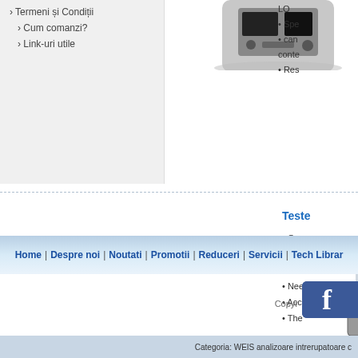Termeni și Condiții
Cum comanzi?
Link-uri utile
[Figure (photo): Electronic test equipment / analyzer device (top, partially visible)]
• Spe
• can conte
• Res
[Figure (photo): Portable electronic circuit breaker / contact resistance tester in a metal case with display and controls]
Teste
• Qu
• can
• can
• Nee
• Acc
• The
0
Home | Despre noi | Noutati | Promotii | Reduceri | Servicii | Tech Librar
Copyr
Categoria: WEIS analizoare intrerupatoare c